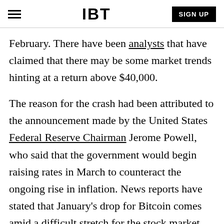IBT | SIGN UP
February. There have been analysts that have claimed that there may be some market trends hinting at a return above $40,000.
The reason for the crash had been attributed to the announcement made by the United States Federal Reserve Chairman Jerome Powell, who said that the government would begin raising rates in March to counteract the ongoing rise in inflation. News reports have stated that January's drop for Bitcoin comes amid a difficult stretch for the stock market and the release of the Federal Reserve's report on a